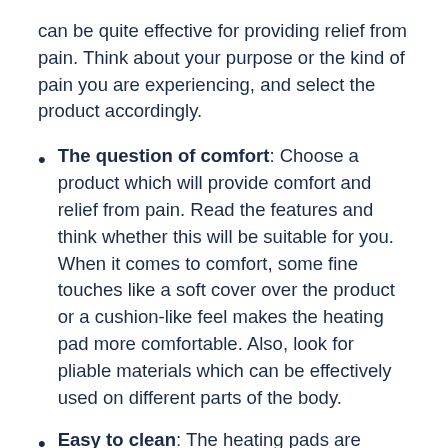can be quite effective for providing relief from pain. Think about your purpose or the kind of pain you are experiencing, and select the product accordingly.
The question of comfort: Choose a product which will provide comfort and relief from pain. Read the features and think whether this will be suitable for you. When it comes to comfort, some fine touches like a soft cover over the product or a cushion-like feel makes the heating pad more comfortable. Also, look for pliable materials which can be effectively used on different parts of the body.
Easy to clean: The heating pads are